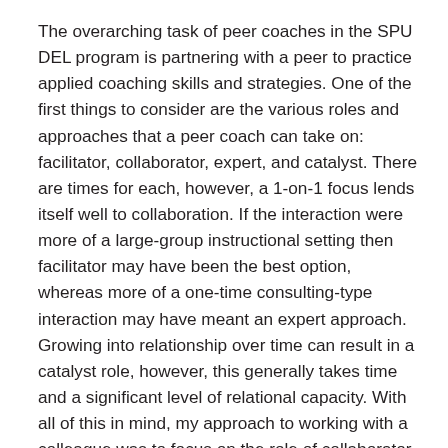The overarching task of peer coaches in the SPU DEL program is partnering with a peer to practice applied coaching skills and strategies. One of the first things to consider are the various roles and approaches that a peer coach can take on: facilitator, collaborator, expert, and catalyst. There are times for each, however, a 1-on-1 focus lends itself well to collaboration. If the interaction were more of a large-group instructional setting then facilitator may have been the best option, whereas more of a one-time consulting-type interaction may have meant an expert approach. Growing into relationship over time can result in a catalyst role, however, this generally takes time and a significant level of relational capacity. With all of this in mind, my approach to working with a colleague was to focus on the role of collaborator so that we could grow our peer coaching relationship together. Our initial meeting focused on getting to know each other with relation to this task, agreeing upon relational